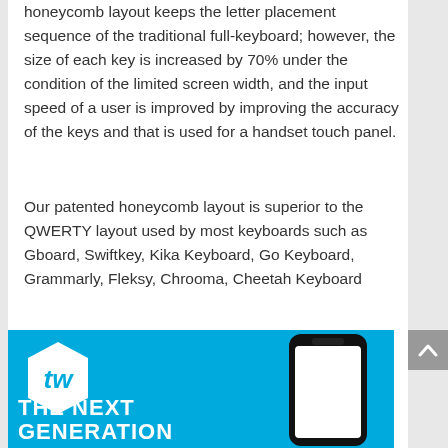honeycomb layout keeps the letter placement sequence of the traditional full-keyboard; however, the size of each key is increased by 70% under the condition of the limited screen width, and the input speed of a user is improved by improving the accuracy of the keys and that is used for a handset touch panel.
Our patented honeycomb layout is superior to the QWERTY layout used by most keyboards such as Gboard, Swiftkey, Kika Keyboard, Go Keyboard, Grammarly, Fleksy, Chrooma, Cheetah Keyboard
[Figure (illustration): Blue promotional banner for a keyboard app showing a white hexagonal logo with 'tw' script text on the left, a smartphone mockup on the right, and bold white text at the bottom reading 'THE NEXT GENERATION']